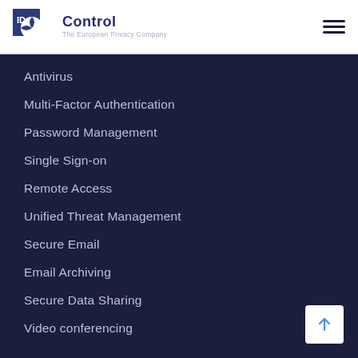[Figure (logo): ID Control logo — square blue icon with 'ID' text and a circle/globe motif, followed by 'Control' in dark navy and tagline 'The European Privacy Company' in grey]
Antivirus
Multi-Factor Authentication
Password Management
Single Sign-on
Remote Access
Unified Threat Management
Secure Email
Email Archiving
Secure Data Sharing
Video conferencing